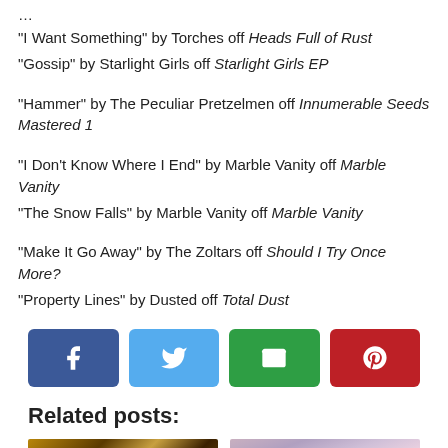“I Want Something” by Torches off Heads Full of Rust
“Gossip” by Starlight Girls off Starlight Girls EP
“Hammer” by The Peculiar Pretzelmen off Innumerable Seeds Mastered 1
“I Don’t Know Where I End” by Marble Vanity off Marble Vanity
“The Snow Falls” by Marble Vanity off Marble Vanity
“Make It Go Away” by The Zoltars off Should I Try Once More?
“Property Lines” by Dusted off Total Dust
[Figure (infographic): Social share buttons: Facebook (blue), Twitter (light blue), Email (green), Pinterest (red)]
Related posts:
[Figure (photo): Two thumbnail photos for related posts: a dark gold-toned image and a blurred pink/purple bokeh image]